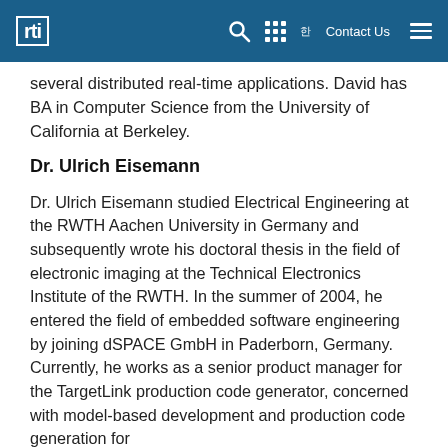RTI navigation bar with logo, search, grid menu, Contact Us, and hamburger menu
software engineering lead at the Lawrence Livermore National Laboratory (LLNL) where he was responsible for the design and implementation of several distributed real-time applications. David has BA in Computer Science from the University of California at Berkeley.
Dr. Ulrich Eisemann
Dr. Ulrich Eisemann studied Electrical Engineering at the RWTH Aachen University in Germany and subsequently wrote his doctoral thesis in the field of electronic imaging at the Technical Electronics Institute of the RWTH. In the summer of 2004, he entered the field of embedded software engineering by joining dSPACE GmbH in Paderborn, Germany. Currently, he works as a senior product manager for the TargetLink production code generator, concerned with model-based development and production code generation for